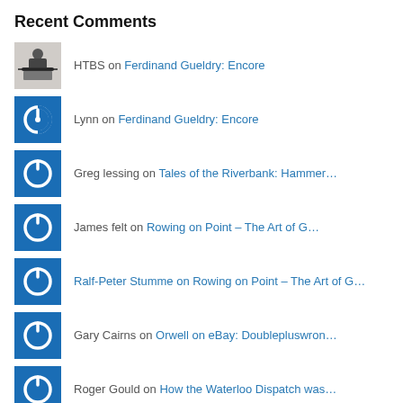Recent Comments
HTBS on Ferdinand Gueldry: Encore
Lynn on Ferdinand Gueldry: Encore
Greg lessing on Tales of the Riverbank: Hammer…
James felt on Rowing on Point – The Art of G…
Ralf-Peter Stumme on Rowing on Point – The Art of G…
Gary Cairns on Orwell on eBay: Doublepluswron…
Roger Gould on How the Waterloo Dispatch was…